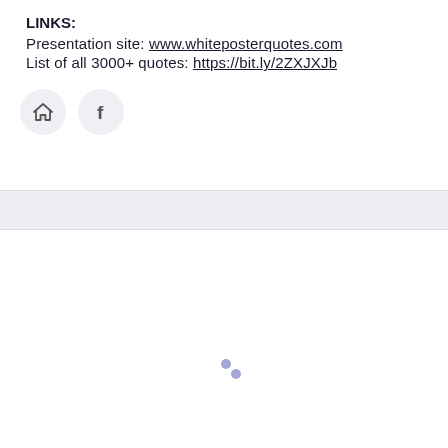LINKS:
Presentation site: www.whiteposterquotes.com
List of all 3000+ quotes: https://bit.ly/2ZXJXJb
[Figure (illustration): Two circular icon buttons: a home icon and a Facebook 'f' icon, both on light gray circular backgrounds]
[Figure (illustration): Two small purple loading dots in the lower center of the page]